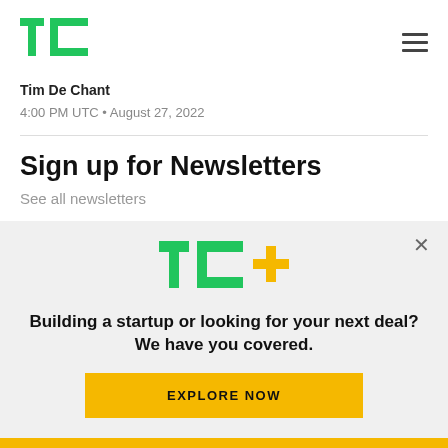TechCrunch logo and navigation menu
Tim De Chant
4:00 PM UTC • August 27, 2022
Sign up for Newsletters
See all newsletters
[Figure (logo): TechCrunch TC+ logo with green TC letters and gold plus sign]
Building a startup or looking for your next deal? We have you covered.
EXPLORE NOW